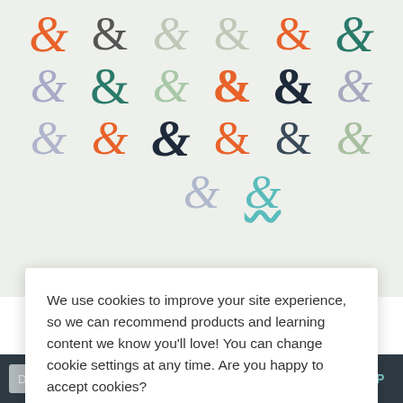[Figure (illustration): Grid of ampersand characters in various typographic styles, colors (orange, teal, light gray, navy, lavender), arranged in rows on a light sage/cream background. Row 1: 6 ampersands. Row 2: 6 ampersands. Row 3: 6 ampersands. Row 4: 2 ampersands.]
We use cookies to improve your site experience, so we can recommend products and learning content we know you'll love! You can change cookie settings at any time. Are you happy to accept cookies?
Manage Cookie Preferences
Yes I'm Happy
Don Improve results (NEW!) TOP